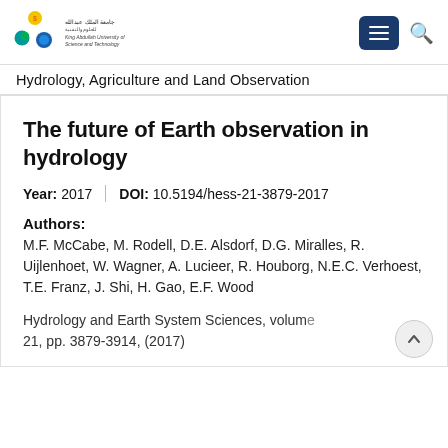[Figure (logo): King Abdullah University of Science and Technology logo with circular icons and Arabic and English text]
Hydrology, Agriculture and Land Observation
The future of Earth observation in hydrology
Year: 2017  |  DOI: 10.5194/hess-21-3879-2017
Authors: M.F. McCabe, M. Rodell, D.E. Alsdorf, D.G. Miralles, R. Uijlenhoet, W. Wagner, A. Lucieer, R. Houborg, N.E.C. Verhoest, T.E. Franz, J. Shi, H. Gao, E.F. Wood
Hydrology and Earth System Sciences, volume 21, pp. 3879-3914, (2017)